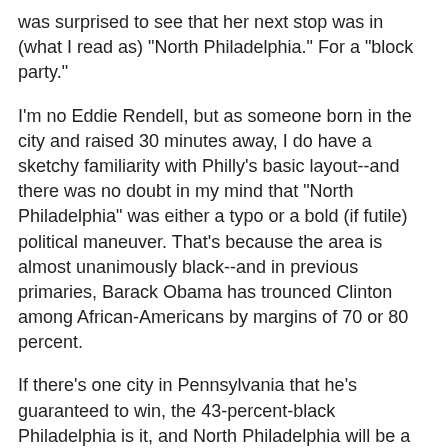was surprised to see that her next stop was in (what I read as) "North Philadelphia." For a "block party."
I'm no Eddie Rendell, but as someone born in the city and raised 30 minutes away, I do have a sketchy familiarity with Philly's basic layout--and there was no doubt in my mind that "North Philadelphia" was either a typo or a bold (if futile) political maneuver. That's because the area is almost unanimously black--and in previous primaries, Barack Obama has trounced Clinton among African-Americans by margins of 70 or 80 percent.
If there's one city in Pennsylvania that he's guaranteed to win, the 43-percent-black Philadelphia is it, and North Philadelphia will be a big reason why. It's not Clinton Country. So typing the address--7373 Frankford Ave.--into my GPS, I simply assumed that Clinton was spending the first day of her pre-primary tour reaching out to unfriendly audiences before moving west over the weekend to woo her older, whiter, working-class constituencies. Hence "Glutton for Punishment." As a Philadelphian friend put it to me on the phone, "A block party in North Philadelphia? Fine. With